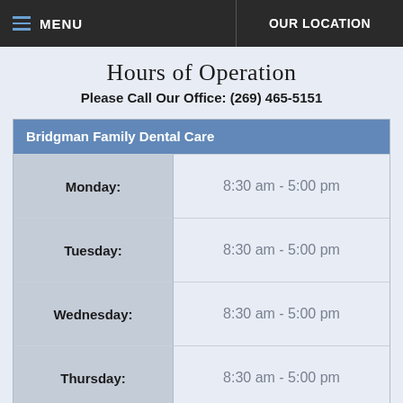MENU  OUR LOCATION
Hours of Operation
Please Call Our Office: (269) 465-5151
| Bridgman Family Dental Care |  |
| --- | --- |
| Monday: | 8:30 am - 5:00 pm |
| Tuesday: | 8:30 am - 5:00 pm |
| Wednesday: | 8:30 am - 5:00 pm |
| Thursday: | 8:30 am - 5:00 pm |
| Friday: | 8:00 am - 2:00 pm |